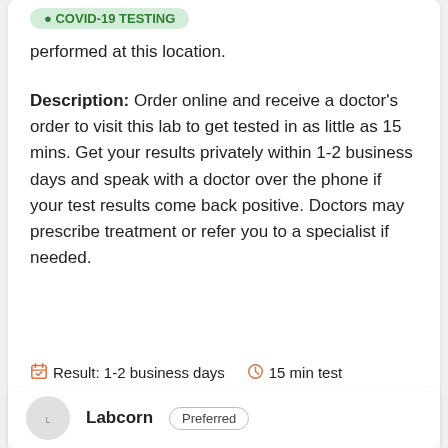performed at this location.
Description: Order online and receive a doctor's order to visit this lab to get tested in as little as 15 mins. Get your results privately within 1-2 business days and speak with a doctor over the phone if your test results come back positive. Doctors may prescribe treatment or refer you to a specialist if needed.
Result: 1-2 business days   15 min test
Book Online   Doctor Prescription (if needed)
SEE TESTS & PRICING
Labcorp   Preferred